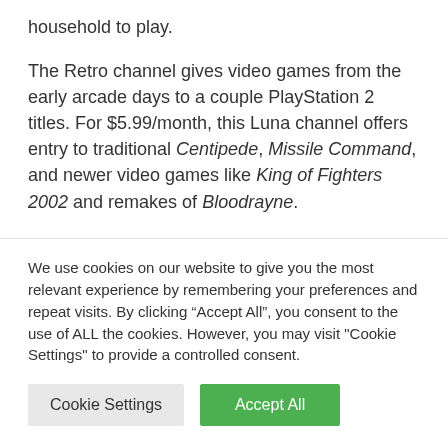household to play.
The Retro channel gives video games from the early arcade days to a couple PlayStation 2 titles. For $5.99/month, this Luna channel offers entry to traditional Centipede, Missile Command, and newer video games like King of Fighters 2002 and remakes of Bloodrayne.
The subsequent few channel choices are a bit completely different, beginning with the Prime
We use cookies on our website to give you the most relevant experience by remembering your preferences and repeat visits. By clicking “Accept All”, you consent to the use of ALL the cookies. However, you may visit "Cookie Settings" to provide a controlled consent.